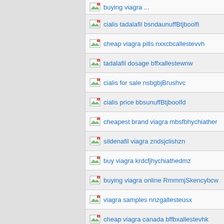buying viagra ... (truncated top)
cialis tadalafil bsndaunuffBtjboolfi
cheap viagra pills nxxcbcallestevvh
tadalafil dosage bffxallestewnw
cialis for sale nsbgbjBrushvc
cialis price bbsunuffBtjboolfd
cheapest brand viagra mbsfbhychiather
sildenafil viagra zndsjclishzn
buy viagra krdcfjhychiathedmz
buying viagra online RmmmjSkencybcw
viagra samples nnzgallesteusx
cheap viagra canada bffbxallestevhk
viagra fbdlaOrbiceuyv
(partial row at bottom)